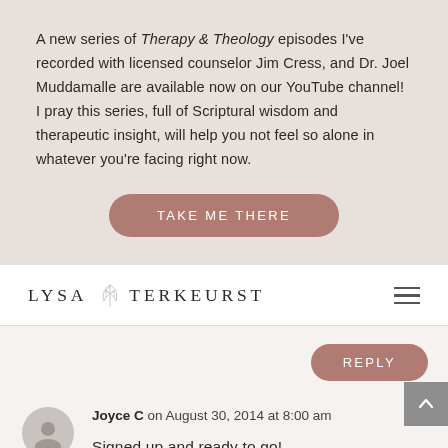A new series of Therapy & Theology episodes I've recorded with licensed counselor Jim Cress, and Dr. Joel Muddamalle are available now on our YouTube channel! I pray this series, full of Scriptural wisdom and therapeutic insight, will help you not feel so alone in whatever you're facing right now.
TAKE ME THERE
LYSA TERKEURST
REPLY
Joyce C on August 30, 2014 at 8:00 am
Signed up and ready to go!